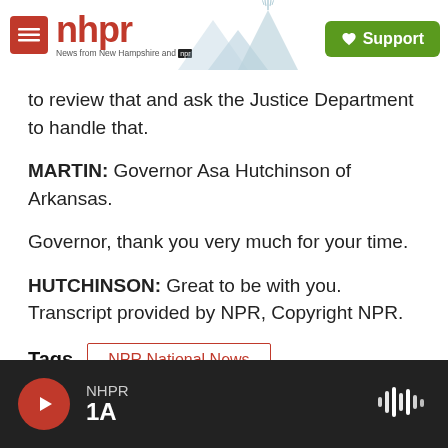nhpr — News from New Hampshire and NPR | Support
to review that and ask the Justice Department to handle that.
MARTIN: Governor Asa Hutchinson of Arkansas.
Governor, thank you very much for your time.
HUTCHINSON: Great to be with you. Transcript provided by NPR, Copyright NPR.
Tags  NPR National News
[Figure (infographic): Social sharing icons row: Facebook (blue), Twitter (blue), LinkedIn (blue), Pinterest (red), Email (white/outlined)]
NHPR 1A — audio player bar